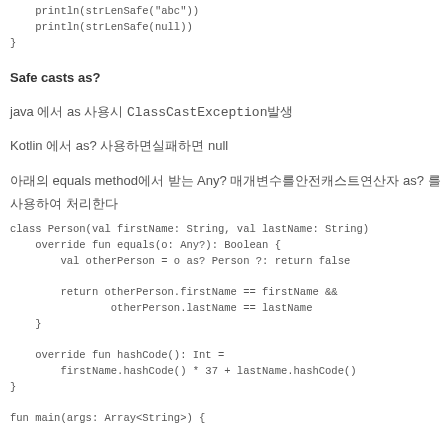println(strLenSafe("abc"))
    println(strLenSafe(null))
}
Safe casts as?
java 에서 as 사용시 ClassCastException발생
Kotlin 에서 as? 사용하면실패하면 null
아래의 equals method에서 받는 Any? 매개변수를안전캐스트연산자 as? 를사용하여 처리한다
class Person(val firstName: String, val lastName: String)
    override fun equals(o: Any?): Boolean {
        val otherPerson = o as? Person ?: return false

        return otherPerson.firstName == firstName &&
                otherPerson.lastName == lastName
    }

    override fun hashCode(): Int =
        firstName.hashCode() * 37 + lastName.hashCode()
}

fun main(args: Array<String>) {